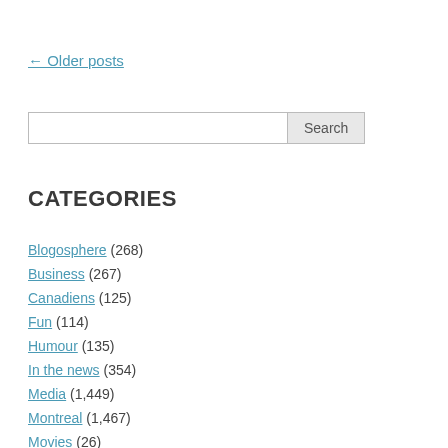← Older posts
Search
CATEGORIES
Blogosphere (268)
Business (267)
Canadiens (125)
Fun (114)
Humour (135)
In the news (354)
Media (1,449)
Montreal (1,467)
Movies (26)